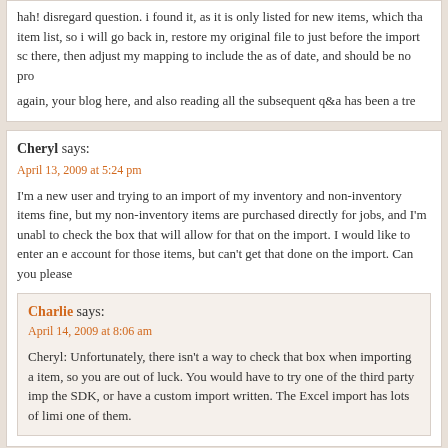hah! disregard question. i found it, as it is only listed for new items, which tha item list, so i will go back in, restore my original file to just before the import sc there, then adjust my mapping to include the as of date, and should be no pro
again, your blog here, and also reading all the subsequent q&a has been a tre
Cheryl says: April 13, 2009 at 5:24 pm
I'm a new user and trying to an import of my inventory and non-inventory items fine, but my non-inventory items are purchased directly for jobs, and I'm unabl to check the box that will allow for that on the import. I would like to enter an e account for those items, but can't get that done on the import. Can you please
Charlie says: April 14, 2009 at 8:06 am
Cheryl: Unfortunately, there isn't a way to check that box when importing a item, so you are out of luck. You would have to try one of the third party imp the SDK, or have a custom import written. The Excel import has lots of limi one of them.